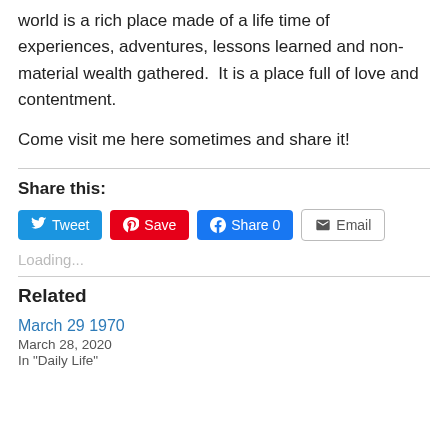world is a rich place made of a life time of experiences, adventures, lessons learned and non-material wealth gathered.  It is a place full of love and contentment.

Come visit me here sometimes and share it!
Share this:
[Figure (other): Social share buttons: Tweet (Twitter), Save (Pinterest), Share 0 (Facebook), Email]
Loading...
Related
March 29 1970
March 28, 2020
In "Daily Life"